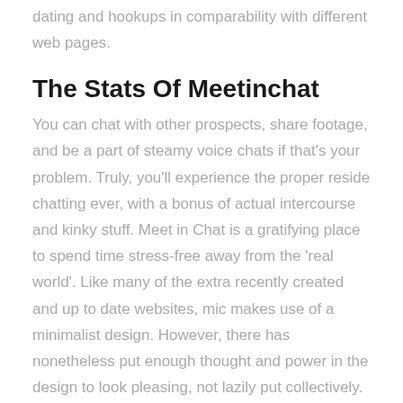dating and hookups in comparability with different web pages.
The Stats Of Meetinchat
You can chat with other prospects, share footage, and be a part of steamy voice chats if that’s your problem. Truly, you’ll experience the proper reside chatting ever, with a bonus of actual intercourse and kinky stuff. Meet in Chat is a gratifying place to spend time stress-free away from the ‘real world’. Like many of the extra recently created and up to date websites, mic makes use of a minimalist design. However, there has nonetheless put enough thought and power in the design to look pleasing, not lazily put collectively. This software program delivers privateness